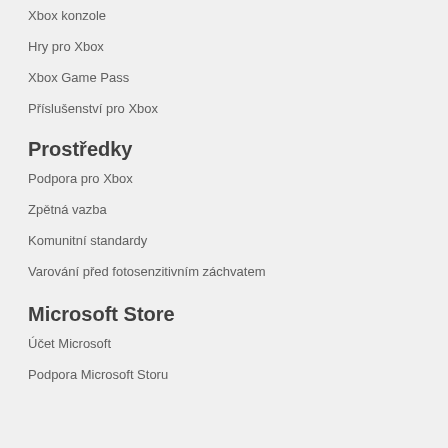Xbox konzole
Hry pro Xbox
Xbox Game Pass
Příslušenství pro Xbox
Prostředky
Podpora pro Xbox
Zpětná vazba
Komunitní standardy
Varování před fotosenzitivním záchvatem
Microsoft Store
Účet Microsoft
Podpora Microsoft Storu